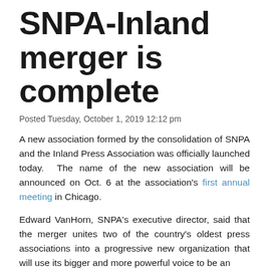SNPA-Inland merger is complete
Posted Tuesday, October 1, 2019 12:12 pm
A new association formed by the consolidation of SNPA and the Inland Press Association was officially launched today.  The name of the new association will be announced on Oct. 6 at the association's first annual meeting in Chicago.
Edward VanHorn, SNPA's executive director, said that the merger unites two of the country's oldest press associations into a progressive new organization that will use its bigger and more powerful voice to be an